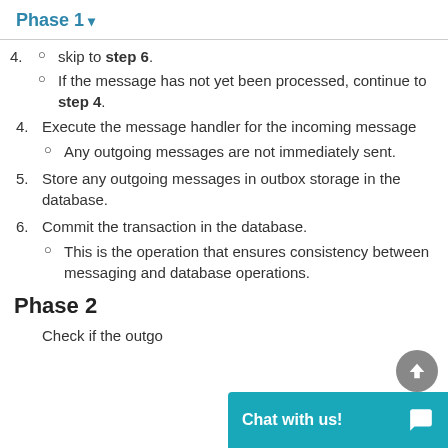Phase 1
skip to step 6.
If the message has not yet been processed, continue to step 4.
4. Execute the message handler for the incoming message
Any outgoing messages are not immediately sent.
5. Store any outgoing messages in outbox storage in the database.
6. Commit the transaction in the database.
This is the operation that ensures consistency between messaging and database operations.
Phase 2
1. Check if the outgo...